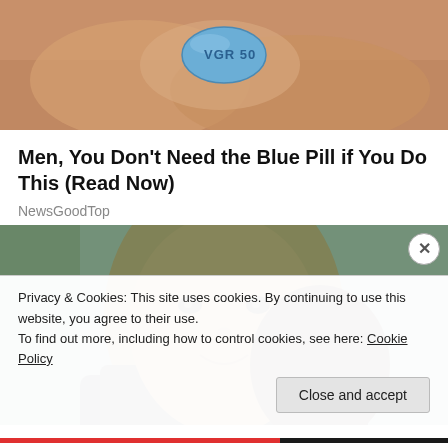[Figure (photo): Close-up photo of fingers holding a blue diamond-shaped pill labeled VGR 50 (Viagra)]
Men, You Don't Need the Blue Pill if You Do This (Read Now)
NewsGoodTop
[Figure (photo): Close-up portrait photo of a smiling man in a dark suit with another person's head resting on his shoulder]
Privacy & Cookies: This site uses cookies. By continuing to use this website, you agree to their use.
To find out more, including how to control cookies, see here: Cookie Policy
Close and accept